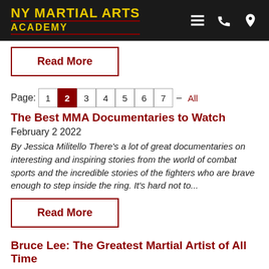NY MARTIAL ARTS ACADEMY
Read More
Page: 1 2 3 4 5 6 7 - All
The Best MMA Documentaries to Watch
February 2 2022
By Jessica Militello There's a lot of great documentaries on interesting and inspiring stories from the world of combat sports and the incredible stories of the fighters who are brave enough to step inside the ring. It's hard not to...
Read More
Bruce Lee: The Greatest Martial Artist of All Time